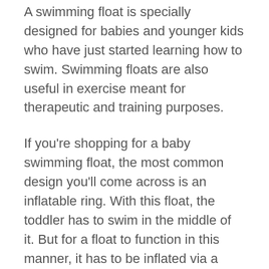A swimming float is specially designed for babies and younger kids who have just started learning how to swim. Swimming floats are also useful in exercise meant for therapeutic and training purposes.
If you're shopping for a baby swimming float, the most common design you'll come across is an inflatable ring. With this float, the toddler has to swim in the middle of it. But for a float to function in this manner, it has to be inflated via a valve. This inflation process makes the float lighter than water since it's mainly made up of air.